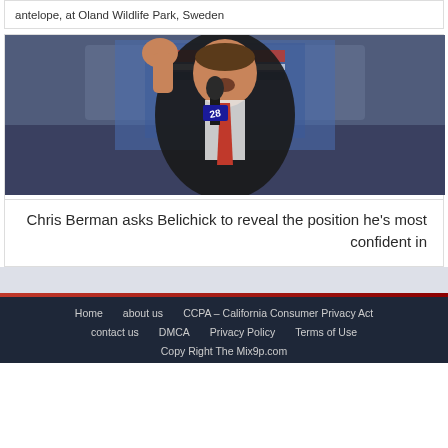antelope, at Oland Wildlife Park, Sweden
[Figure (photo): Chris Berman speaking at a podium with a microphone labeled 28, wearing a black suit and red tie, raising his fist]
Chris Berman asks Belichick to reveal the position he's most confident in
Home   about us   CCPA – California Consumer Privacy Act   contact us   DMCA   Privacy Policy   Terms of Use   Copy Right The Mix9p.com